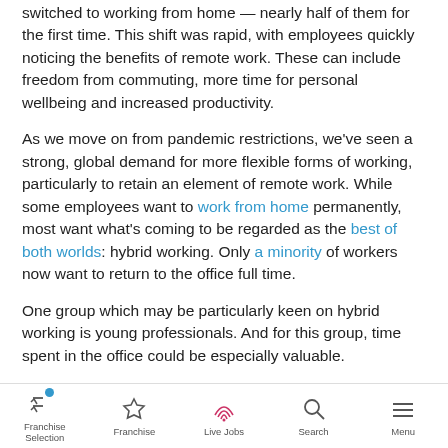switched to working from home — nearly half of them for the first time. This shift was rapid, with employees quickly noticing the benefits of remote work. These can include freedom from commuting, more time for personal wellbeing and increased productivity.
As we move on from pandemic restrictions, we've seen a strong, global demand for more flexible forms of working, particularly to retain an element of remote work. While some employees want to work from home permanently, most want what's coming to be regarded as the best of both worlds: hybrid working. Only a minority of workers now want to return to the office full time.
One group which may be particularly keen on hybrid working is young professionals. And for this group, time spent in the office could be especially valuable.
[Figure (other): Mobile app navigation bar with icons: Franchise Selection (with blue dot indicator), Franchise, Live Jobs, Search, Menu]